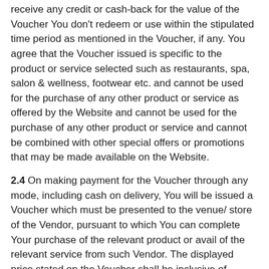receive any credit or cash-back for the value of the Voucher You don't redeem or use within the stipulated time period as mentioned in the Voucher, if any. You agree that the Voucher issued is specific to the product or service selected such as restaurants, spa, salon & wellness, footwear etc. and cannot be used for the purchase of any other product or service as offered by the Website and cannot be used for the purchase of any other product or service and cannot be combined with other special offers or promotions that may be made available on the Website.
2.4 On making payment for the Voucher through any mode, including cash on delivery, You will be issued a Voucher which must be presented to the venue/ store of the Vendor, pursuant to which You can complete Your purchase of the relevant product or avail of the relevant service from such Vendor. The displayed price stated on the Voucher shall be inclusive of applicable taxes unless mentioned otherwise..
2.5 Vouchers once sold are non-refundable, whether You use it